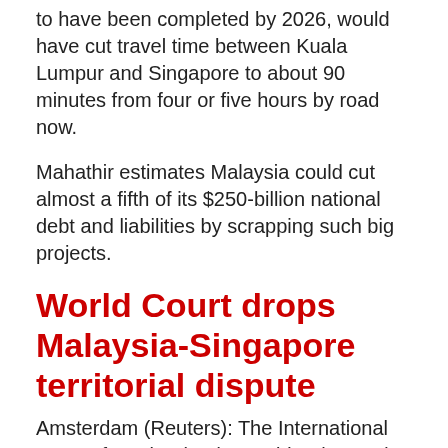to have been completed by 2026, would have cut travel time between Kuala Lumpur and Singapore to about 90 minutes from four or five hours by road now.
Mahathir estimates Malaysia could cut almost a fifth of its $250-billion national debt and liabilities by scrapping such big projects.
World Court drops Malaysia-Singapore territorial dispute
Amsterdam (Reuters): The International Court of Justice (ICJ) on Friday (1 June) said it has dropped a long-running territorial dispute between Malaysia and Singapore by mutual consent.
The court said Malaysia this week notified it of its intent to drop its claim to Pedra Branca Island, near the opening of the Straits of Singapore. After checking with Singapore,